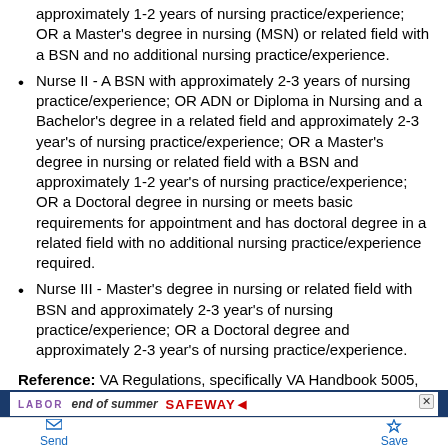approximately 1-2 years of nursing practice/experience; OR a Master's degree in nursing (MSN) or related field with a BSN and no additional nursing practice/experience.
Nurse II - A BSN with approximately 2-3 years of nursing practice/experience; OR ADN or Diploma in Nursing and a Bachelor's degree in a related field and approximately 2-3 year's of nursing practice/experience; OR a Master's degree in nursing or related field with a BSN and approximately 1-2 year's of nursing practice/experience; OR a Doctoral degree in nursing or meets basic requirements for appointment and has doctoral degree in a related field with no additional nursing practice/experience required.
Nurse III - Master's degree in nursing or related field with BSN and approximately 2-3 year's of nursing practice/experience; OR a Doctoral degree and approximately 2-3 year's of nursing practice/experience.
Reference: VA Regulations, specifically VA Handbook 5005,